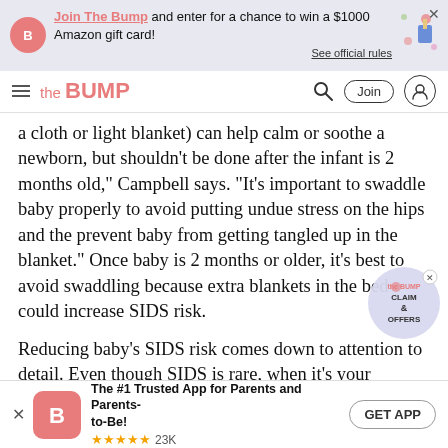[Figure (screenshot): Top promotional banner: 'Join The Bump and enter for a chance to win a $1000 Amazon gift card! See official rules']
[Figure (logo): The Bump website navigation bar with hamburger menu, logo, search icon, Join button, and user icon]
a cloth or light blanket) can help calm or soothe a newborn, but shouldn't be done after the infant is 2 months old," Campbell says. "It's important to swaddle baby properly to avoid putting undue stress on the hips and the prevent baby from getting tangled up in the blanket." Once baby is 2 months or older, it's best to avoid swaddling because extra blankets in the bed could increase SIDS risk.
Reducing baby's SIDS risk comes down to attention to detail. Even though SIDS is rare, when it's your
[Figure (logo): The Bump OFFERS badge overlay]
[Figure (screenshot): Bottom app download banner: The #1 Trusted App for Parents and Parents-to-Be! 5 stars 23K. GET APP button]